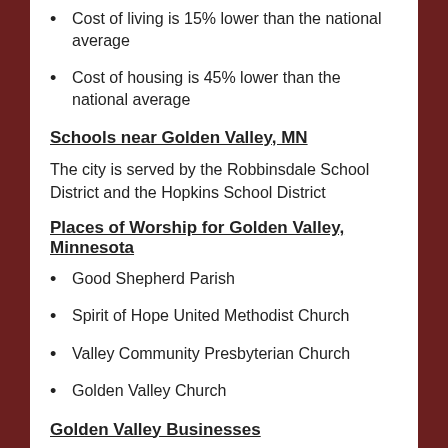Cost of living is 15% lower than the national average
Cost of housing is 45% lower than the national average
Schools near Golden Valley, MN
The city is served by the Robbinsdale School District and the Hopkins School District
Places of Worship for Golden Valley, Minnesota
Good Shepherd Parish
Spirit of Hope United Methodist Church
Valley Community Presbyterian Church
Golden Valley Church
Golden Valley Businesses
Top employers in the city are: